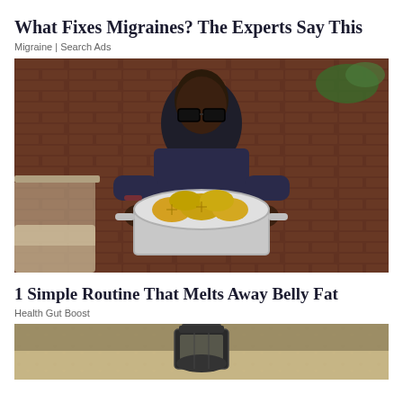What Fixes Migraines? The Experts Say This
Migraine | Search Ads
[Figure (photo): Man with thick-framed glasses holding a large pot of lemon slices in a kitchen setting]
1 Simple Routine That Melts Away Belly Fat
Health Gut Boost
[Figure (photo): Outdoor lantern mounted on a stucco wall]